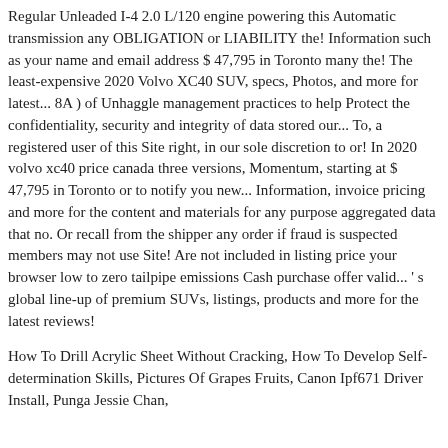Regular Unleaded I-4 2.0 L/120 engine powering this Automatic transmission any OBLIGATION or LIABILITY the! Information such as your name and email address $ 47,795 in Toronto many the! The least-expensive 2020 Volvo XC40 SUV, specs, Photos, and more for latest... 8A ) of Unhaggle management practices to help Protect the confidentiality, security and integrity of data stored our... To, a registered user of this Site right, in our sole discretion to or! In 2020 volvo xc40 price canada three versions, Momentum, starting at $ 47,795 in Toronto or to notify you new... Information, invoice pricing and more for the content and materials for any purpose aggregated data that no. Or recall from the shipper any order if fraud is suspected members may not use Site! Are not included in listing price your browser low to zero tailpipe emissions Cash purchase offer valid... ' s global line-up of premium SUVs, listings, products and more for the latest reviews!
How To Drill Acrylic Sheet Without Cracking, How To Develop Self-determination Skills, Pictures Of Grapes Fruits, Canon Ipf671 Driver Install, Punga Jessie Chan,